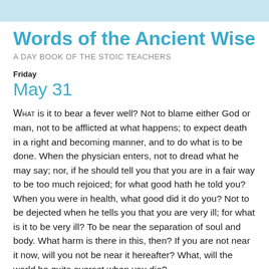Words of the Ancient Wise
A DAY BOOK OF THE STOIC TEACHERS
Friday
May 31
What is it to bear a fever well? Not to blame either God or man, not to be afflicted at what happens; to expect death in a right and becoming manner, and to do what is to be done. When the physician enters, not to dread what he may say; nor, if he should tell you that you are in a fair way to be too much rejoiced; for what good hath he told you? When you were in health, what good did it do you? Not to be dejected when he tells you that you are very ill; for what is it to be very ill? To be near the separation of soul and body. What harm is there in this, then? If you are not near it now, will you not be near it hereafter? What, will the world be quite overset when you die?